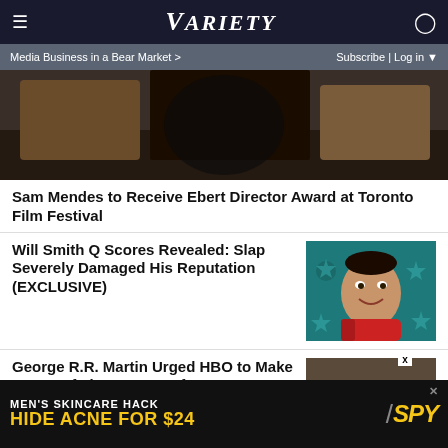VARIETY
Media Business in a Bear Market > Subscribe | Log in
[Figure (photo): Hero image showing people in a dimly lit scene]
Sam Mendes to Receive Ebert Director Award at Toronto Film Festival
Will Smith Q Scores Revealed: Slap Severely Damaged His Reputation (EXCLUSIVE)
[Figure (photo): Will Smith smiling in a red jacket against a teal star-patterned background]
George R.R. Martin Urged HBO to Make 'Game of Thrones' Run for '10 Seasons at Least'
[Figure (photo): George R.R. Martin wearing a cap in front of large letters]
[Figure (infographic): Advertisement: MEN'S SKINCARE HACK HIDE ACNE FOR $24 - SPY]